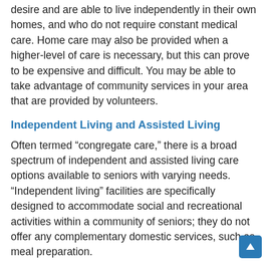desire and are able to live independently in their own homes, and who do not require constant medical care. Home care may also be provided when a higher-level of care is necessary, but this can prove to be expensive and difficult. You may be able to take advantage of community services in your area that are provided by volunteers.
Independent Living and Assisted Living
Often termed “congreggate care,” there is a broad spectrum of independent and assisted living care options available to seniors with varying needs. “Independent living” facilities are specifically designed to accommodate social and recreational activities within a community of seniors; they do not offer any complementary domestic services, such as meal preparation.
“Assisted living” or “residential care” tend to combine independent living facilities with shared services such as dining, laundry, and housekeeping—and in some cases, medication management and other personal services. They also include some shared living spaces and provide access to social and recreational activities and